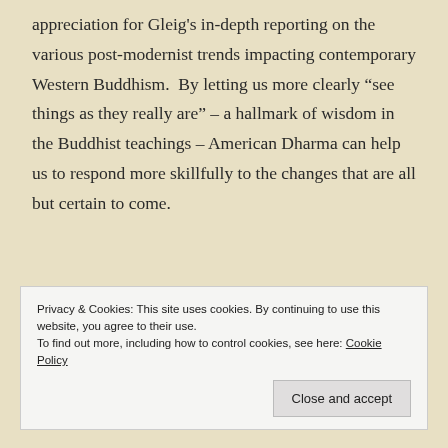appreciation for Gleig's in-depth reporting on the various post-modernist trends impacting contemporary Western Buddhism.  By letting us more clearly “see things as they really are” – a hallmark of wisdom in the Buddhist teachings – American Dharma can help us to respond more skillfully to the changes that are all but certain to come.
Privacy & Cookies: This site uses cookies. By continuing to use this website, you agree to their use.
To find out more, including how to control cookies, see here: Cookie Policy